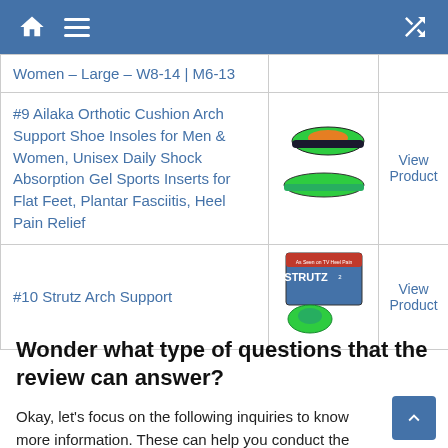Navigation header with home, menu, and shuffle icons
| Product | Image | Link |
| --- | --- | --- |
| Women – Large – W8-14 | M6-13 |  |  |
| #9 Ailaka Orthotic Cushion Arch Support Shoe Insoles for Men & Women, Unisex Daily Shock Absorption Gel Sports Inserts for Flat Feet, Plantar Fasciitis, Heel Pain Relief | [insoles image] | View Product |
| #10 Strutz Arch Support | [strutz image] | View Product |
Wonder what type of questions that the review can answer?
Okay, let’s focus on the following inquiries to know more information. These can help you conduct the product research and